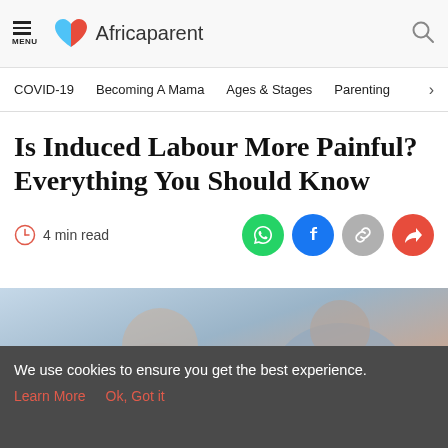MENU  Africaparent
COVID-19  Becoming A Mama  Ages & Stages  Parenting >
Is Induced Labour More Painful? Everything You Should Know
4 min read
[Figure (photo): Close-up photo of a pregnant woman holding her belly, wearing a grey cardigan, with another person partially visible in the background.]
We use cookies to ensure you get the best experience.
Learn More   Ok, Got it